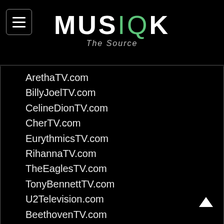MUSIQK The Source
ArethaTV.com
BillyJoelTV.com
CelineDionTV.com
CherTV.com
EurythmicsTV.com
RihannaTV.com
TheEaglesTV.com
TonyBennettTV.com
U2Television.com
BeethovenTV.com
BrahmsTV.com
BartokTV.com
ChopinTV.com
Musiqk.com
DebussyTV.com
RavelTV.com
GershwinTV.com